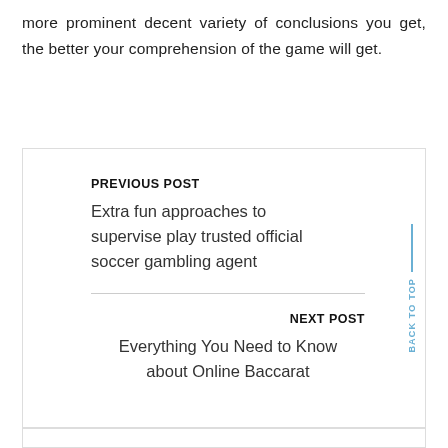more prominent decent variety of conclusions you get, the better your comprehension of the game will get.
PREVIOUS POST
Extra fun approaches to supervise play trusted official soccer gambling agent
NEXT POST
Everything You Need to Know about Online Baccarat
BACK TO TOP